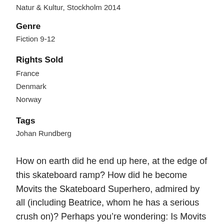Natur & Kultur, Stockholm 2014
Genre
Fiction 9-12
Rights Sold
France
Denmark
Norway
Tags
Johan Rundberg
How on earth did he end up here, at the edge of this skateboard ramp? How did he become Movits the Skateboard Superhero, admired by all (including Beatrice, whom he has a serious crush on)? Perhaps you're wondering: Is Movits a natural raw talent, born to be skating with the best of